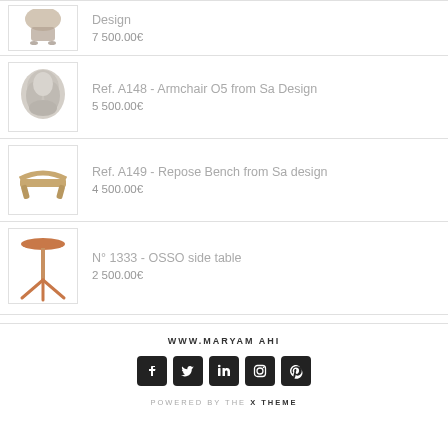[Figure (photo): Partial product image at top of page - furniture design piece]
Design
7 500.00€
[Figure (photo): Armchair O5 from Sa Design - organic shaped cream/grey armchair]
Ref. A148 - Armchair O5 from Sa Design
5 500.00€
[Figure (photo): Repose Bench from Sa design - wooden curved bench]
Ref. A149 - Repose Bench from Sa design
4 500.00€
[Figure (photo): OSSO side table - tripod leg table with round top]
Nº 1333 - OSSO side table
2 500.00€
WWW.MARYAM AHI   POWERED BY THE X THEME